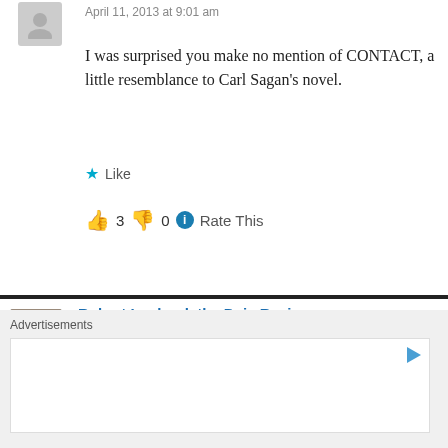April 11, 2013 at 9:01 am
I was surprised you make no mention of CONTACT, a little resemblance to Carl Sagan's novel.
Like
👍 3 👎 0 ℹ Rate This
Reply
Robert Lockard, the Deja Reviewer says
April 11, 2013 at 10:15 pm
Good point. That one totally slipped my mi... novel, so I probably wouldn't have been b...
Advertisements